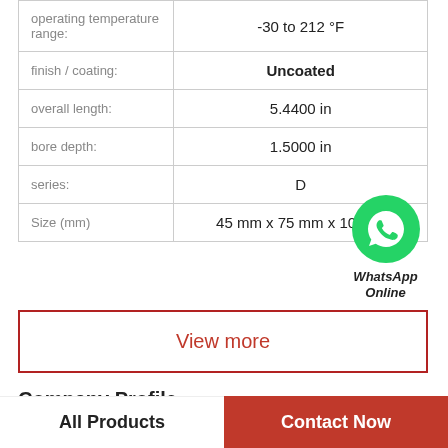| Property | Value |
| --- | --- |
| operating temperature range: | -30 to 212 °F |
| finish / coating: | Uncoated |
| overall length: | 5.4400 in |
| bore depth: | 1.5000 in |
| series: | D |
| Size (mm) | 45 mm x 75 mm x 10 mm |
View more
Company Profile
All Products | Contact Now